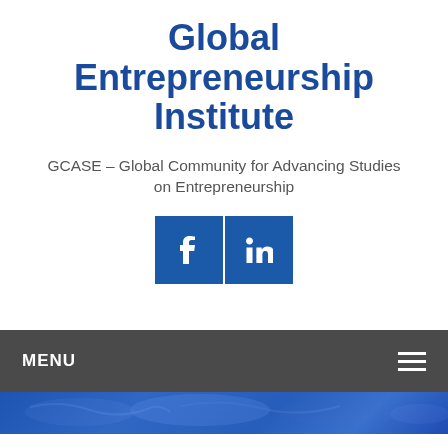Global Entrepreneurship Institute
GCASE – Global Community for Advancing Studies on Entrepreneurship
[Figure (other): Social media buttons: Facebook and LinkedIn icons in blue square buttons]
MENU
[Figure (other): World map decorative banner strip in blue tones]
HISTORY AND MISSION